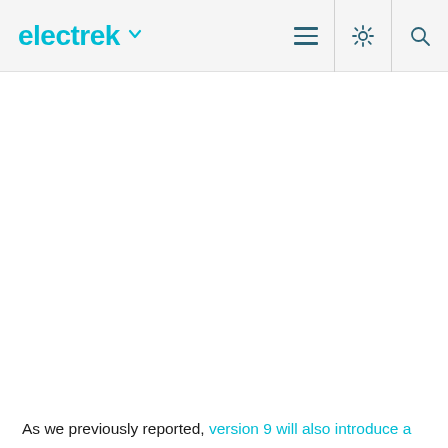electrek
As we previously reported, version 9 will also introduce a